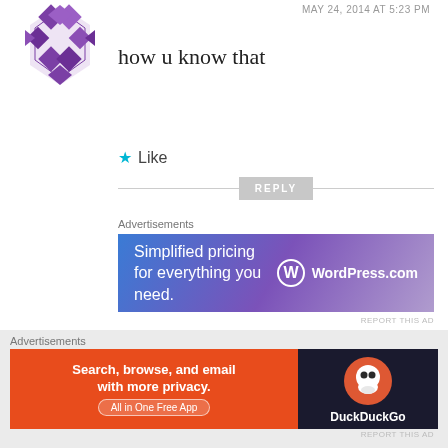MAY 24, 2014 AT 5:23 PM
how u know that
Like
REPLY
Advertisements
[Figure (other): WordPress.com advertisement banner: 'Simplified pricing for everything you need.' with WordPress logo]
REPORT THIS AD
[Figure (other): TheDude user avatar - olive green geometric snowflake pattern icon]
TheDude
MAY 23, 2014 AT 12:13 PM
Advertisements
[Figure (other): DuckDuckGo advertisement: 'Search, browse, and email with more privacy. All in One Free App' with DuckDuckGo logo]
REPORT THIS AD